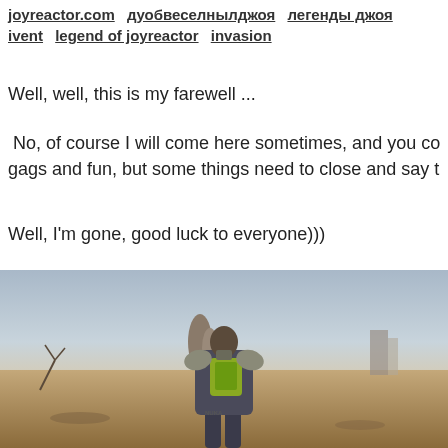joyreactor.com   дуобвеселнылджоя   легенды джоя   ivent   legend of joyreactor   invasion
Well, well, this is my farewell ...
No, of course I will come here sometimes, and you co gags and fun, but some things need to close and say t
Well, I'm gone, good luck to everyone)))
[Figure (photo): A character in armor viewed from behind, standing in a post-apocalyptic desert wasteland landscape, resembling a Fallout game screenshot.]